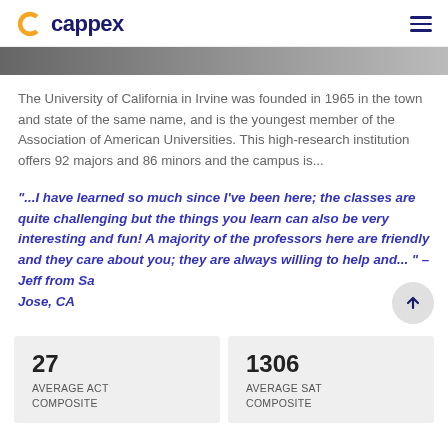cappex
[Figure (photo): Partial hero photo of university campus scene, cropped at top]
The University of California in Irvine was founded in 1965 in the town and state of the same name, and is the youngest member of the Association of American Universities. This high-research institution offers 92 majors and 86 minors and the campus is...
“...I have learned so much since I've been here; the classes are quite challenging but the things you learn can also be very interesting and fun! A majority of the professors here are friendly and they care about you; they are always willing to help and... ” – Jeff from San Jose, CA
| AVERAGE ACT COMPOSITE | AVERAGE SAT COMPOSITE |
| --- | --- |
| 27 | 1306 |